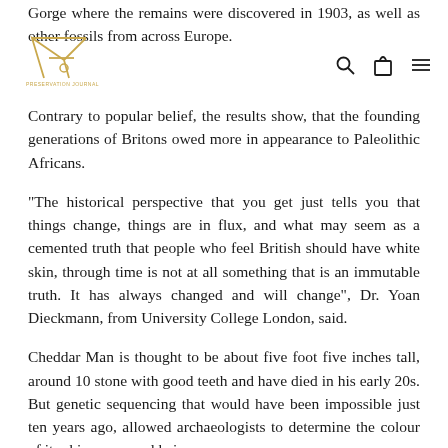Gorge where the remains were discovered in 1903, as well as other fossils from across Europe.
Contrary to popular belief, the results show, that the founding generations of Britons owed more in appearance to Paleolithic Africans.
"The historical perspective that you get just tells you that things change, things are in flux, and what may seem as a cemented truth that people who feel British should have white skin, through time is not at all something that is an immutable truth. It has always changed and will change", Dr. Yoan Dieckmann, from University College London, said.
Cheddar Man is thought to be about five foot five inches tall, around 10 stone with good teeth and have died in his early 20s. But genetic sequencing that would have been impossible just ten years ago, allowed archaeologists to determine the colour of its skin, eyes, and hair.